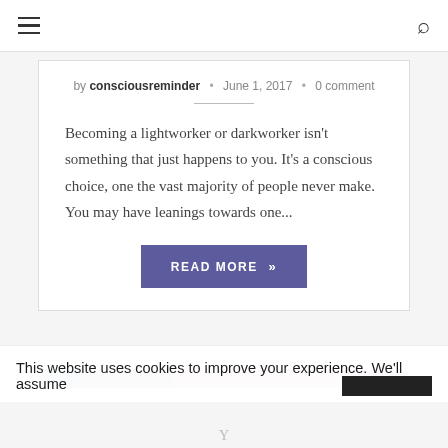Navigation header with hamburger menu and search icon
by consciousreminder • June 1, 2017 • 0 comment
Becoming a lightworker or darkworker isn't something that just happens to you. It's a conscious choice, one the vast majority of people never make. You may have leanings towards one...
READ MORE »
[Figure (photo): Partial image visible at bottom of page]
This website uses cookies to improve your experience. We'll assume